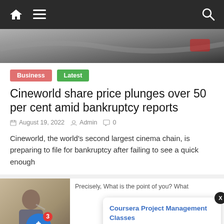Navigation bar with home icon, hamburger menu, and search icon
[Figure (photo): Partial photo of a desk/car scene visible at the top of the article card]
Business  Latest
Cineworld share price plunges over 50 per cent amid bankruptcy reports
August 19, 2022  Admin  0
Cineworld, the world's second largest cinema chain, is preparing to file for bankruptcy after failing to see a quick enough
[Figure (photo): Thumbnail photo of a man in a suit sitting at a desk, talking on phone]
Precisely, What is the point of you? What
Coursera Project Management Classes
11 hours ago
[Figure (photo): Partial blue thumbnail visible at bottom left]